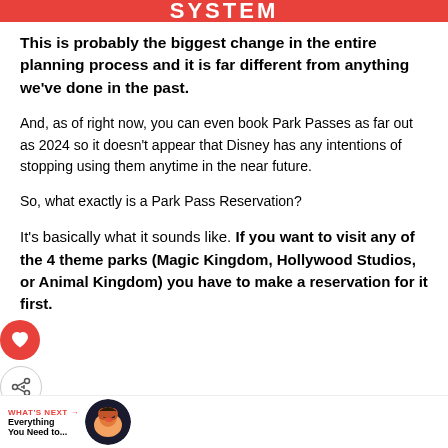SYSTEM
This is probably the biggest change in the entire planning process and it is far different from anything we've done in the past.
And, as of right now, you can even book Park Passes as far out as 2024 so it doesn't appear that Disney has any intentions of stopping using them anytime in the near future.
So, what exactly is a Park Pass Reservation?
It's basically what it sounds like. If you want to visit any of the 4 theme parks (Magic Kingdom, Hollywood Studios, or Animal Kingdom) you have to make a reservation for it first.
WHAT'S NEXT → Everything You Need to...